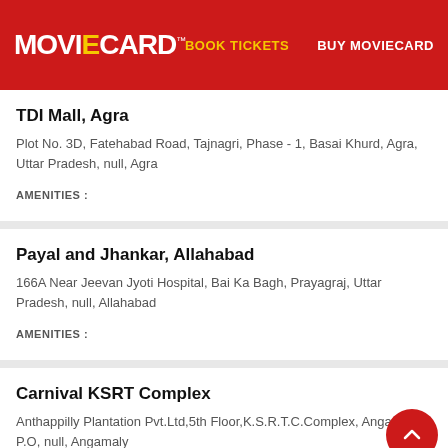MOVIECARD | BOOK TICKETS | BUY MOVIECARD
TDI Mall, Agra
Plot No. 3D, Fatehabad Road, Tajnagri, Phase - 1, Basai Khurd, Agra, Uttar Pradesh, null, Agra
AMENITIES :
Payal and Jhankar, Allahabad
166A Near Jeevan Jyoti Hospital, Bai Ka Bagh, Prayagraj, Uttar Pradesh, null, Allahabad
AMENITIES :
Carnival KSRT Complex
Anthappilly Plantation Pvt.Ltd,5th Floor,K.S.R.T.C.Complex, Angamaly P.O, null, Angamaly
AMENITIES :